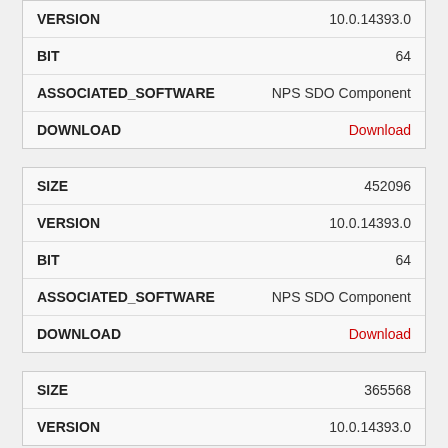| Field | Value |
| --- | --- |
| VERSION | 10.0.14393.0 |
| BIT | 64 |
| ASSOCIATED_SOFTWARE | NPS SDO Component |
| DOWNLOAD | Download |
| Field | Value |
| --- | --- |
| SIZE | 452096 |
| VERSION | 10.0.14393.0 |
| BIT | 64 |
| ASSOCIATED_SOFTWARE | NPS SDO Component |
| DOWNLOAD | Download |
| Field | Value |
| --- | --- |
| SIZE | 365568 |
| VERSION | 10.0.14393.0 |